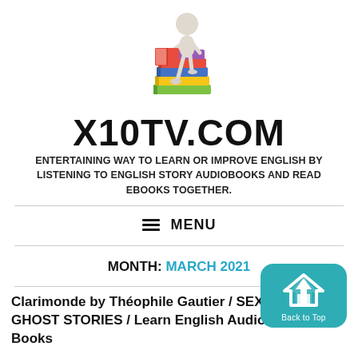[Figure (illustration): 3D cartoon figure reading a book, leaning on a stack of colorful books]
X10TV.COM
ENTERTAINING WAY TO LEARN OR IMPROVE ENGLISH BY LISTENING TO ENGLISH STORY AUDIOBOOKS AND READ EBOOKS TOGETHER.
≡  MENU
MONTH: MARCH 2021
Clarimonde by Théophile Gautier / SEXUALITY GHOST STORIES / Learn English Audio Books by Books...